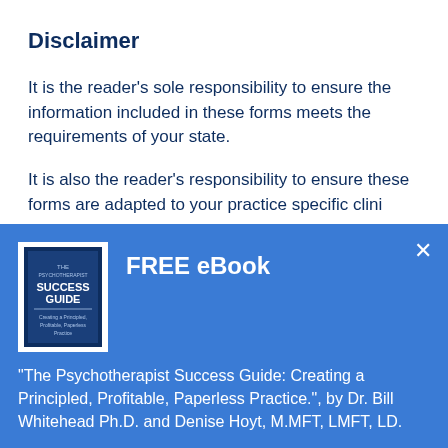Disclaimer
It is the reader's sole responsibility to ensure the information included in these forms meets the requirements of your state.
It is also the reader's responsibility to ensure these forms are adapted to your practice specific clinical…
[Figure (screenshot): FREE eBook popup overlay with book cover image of 'The Psychotherapist Success Guide', close button (×), description text, and 'Get it now!' button]
"The Psychotherapist Success Guide: Creating a Principled, Profitable, Paperless Practice.", by Dr. Bill Whitehead Ph.D. and Denise Hoyt, M.MFT, LMFT, LD.
Get it now!